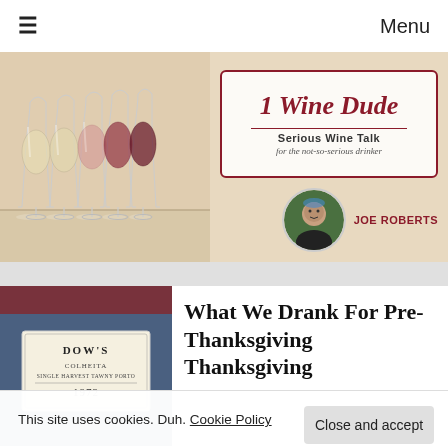≡   Menu
[Figure (photo): Website banner showing multiple wine glasses (white, rosé, red) on left side, and a logo box on the right reading '1 Wine Dude – Serious Wine Talk for the not-so-serious drinker', with a circular photo of Joe Roberts below the logo.]
JOE ROBERTS
What We Drank For Pre-Thanksgiving Thanksgiving
[Figure (photo): Thumbnail photo showing a Dow's Colheita Single Harvest Tawny Porto 1972 wine label on a blue tablecloth background.]
This site uses cookies. Duh. Cookie Policy
Close and accept